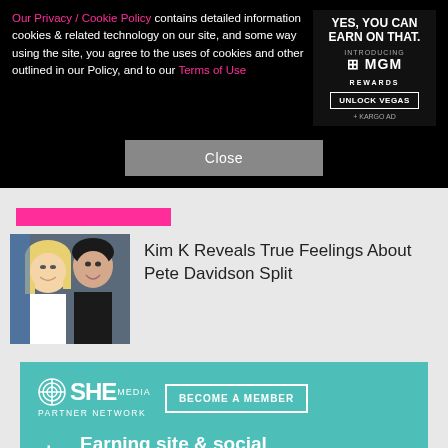Our Privacy / Cookie Policy contains detailed information cookies & related technology on our site, and some way using the site, you agree to the uses of cookies and other outlined in our Policy, and to our Terms of Use
[Figure (infographic): Advertisement banner: YES. YOU CAN EARN ON THAT. INTRODUCING MGM REWARDS. UNLOCK VEGAS. + KARGO AD]
Close
[Figure (photo): Photo of Kim Kardashian (blonde) and Pete Davidson side by side]
Kim K Reveals True Feelings About Pete Davidson Split
[Figure (infographic): SHE MEDIA PARTNER NETWORK - BECOME A MEMBER banner with text: Earning site & social revenue]